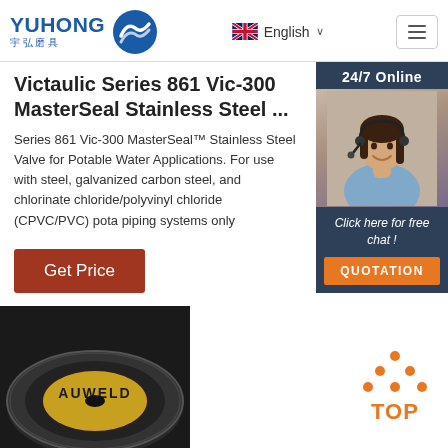YUHONG 宇弘磨具 | English | Navigation
Victaulic Series 861 Vic-300 MasterSeal Stainless Steel ...
Series 861 Vic-300 MasterSeal™ Stainless Steel Valve for Potable Water Applications. For use with steel, galvanized carbon steel, and chlorinated chloride/polyvinyl chloride (CPVC/PVC) potable piping systems only
[Figure (photo): Customer service representative with headset, 24/7 Online chat sidebar with QUOTATION button]
Get Price
[Figure (photo): AUWELD branded abrasive cutting disc, partially visible at bottom of page]
[Figure (logo): TOP button with orange dots arranged in upward arrow pattern]